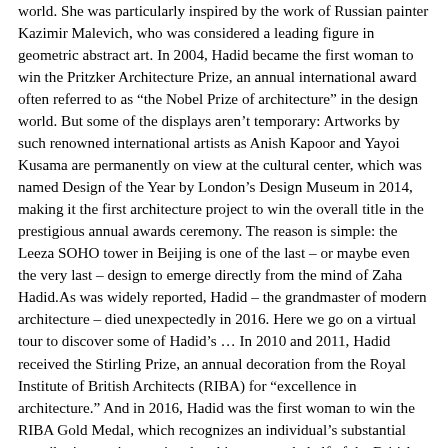world. She was particularly inspired by the work of Russian painter Kazimir Malevich, who was considered a leading figure in geometric abstract art. In 2004, Hadid became the first woman to win the Pritzker Architecture Prize, an annual international award often referred to as “the Nobel Prize of architecture” in the design world. But some of the displays aren’t temporary: Artworks by such renowned international artists as Anish Kapoor and Yayoi Kusama are permanently on view at the cultural center, which was named Design of the Year by London’s Design Museum in 2014, making it the first architecture project to win the overall title in the prestigious annual awards ceremony. The reason is simple: the Leeza SOHO tower in Beijing is one of the last – or maybe even the very last – design to emerge directly from the mind of Zaha Hadid.As was widely reported, Hadid – the grandmaster of modern architecture – died unexpectedly in 2016. Here we go on a virtual tour to discover some of Hadid’s … In 2010 and 2011, Hadid received the Stirling Prize, an annual decoration from the Royal Institute of British Architects (RIBA) for “excellence in architecture.” And in 2016, Hadid was the first woman to win the RIBA Gold Medal, which recognizes an individual’s substantial contributions to international architecture on behalf of the British monarch. It features two Olympic-size swimming pools, an 82-foot diving pool with platform heights from 3 to 32 feet, a 50-station gym with changing facilities, plus a café and other communal areas. Completed in 1993, this was Hadid’s first realized project